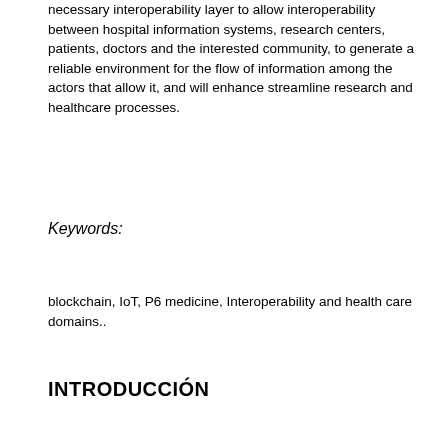necessary interoperability layer to allow interoperability between hospital information systems, research centers, patients, doctors and the interested community, to generate a reliable environment for the flow of information among the actors that allow it, and will enhance streamline research and healthcare processes.
Keywords:
blockchain, IoT, P6 medicine, Interoperability and health care domains..
INTRODUCCIÓN
Actualmente la medicina se está orientando hacia el paciente, esto se refleja en el nuevo modelo P6: personalized, predictive, preventive, participatory, psycho cognitive, public, de atención integral para la salud, el cual requiere la generación de escenarios que permitan compartir y procesar información médica, de forma segura, interoperable y trazable. Por otro lado, blockchain ha sido catalogada como una de las tecnologías con mayor grado disruptivo en la última década;